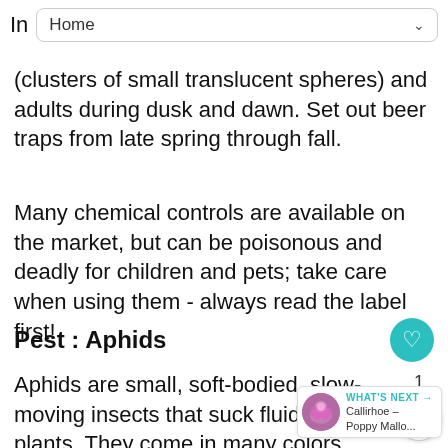In  Home
(clusters of small translucent spheres) and adults during dusk and dawn. Set out beer traps from late spring through fall.
Many chemical controls are available on the market, but can be poisonous and deadly for children and pets; take care when using them - always read the label first!
Pest : Aphids
Aphids are small, soft-bodied, slow-moving insects that suck fluids from plants. They come in many colors, ranging from green, brown to black, and they may have wings.